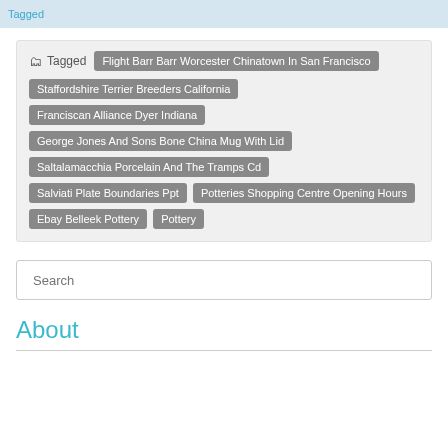Tagged
Flight Barr Barr Worcester Chinatown In San Francisco
Staffordshire Terrier Breeders California
Franciscan Alliance Dyer Indiana
George Jones And Sons Bone China Mug With Lid
Saltalamacchia Porcelain And The Tramps Cd
Salviati Plate Boundaries Ppt
Potteries Shopping Centre Opening Hours
Ebay Belleek Pottery
Pottery
Search
About